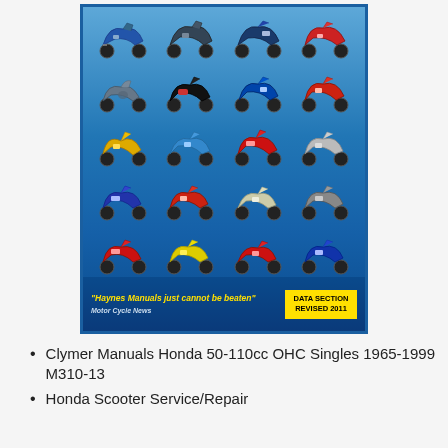[Figure (photo): Book cover showing multiple scooters/mopeds arranged in 5 rows of 4, on a blue gradient background. Bottom of cover has yellow italic quote 'Haynes Manuals just cannot be beaten' attributed to Motor Cycle News, and a yellow DATA SECTION REVISED 2011 badge.]
Clymer Manuals Honda 50-110cc OHC Singles 1965-1999 M310-13
Honda Scooter Service/Repair